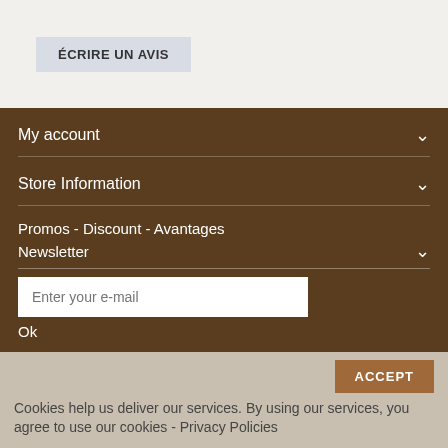ÉCRIRE UN AVIS
My account
Store Information
Promos - Discount - Avantages
Newsletter
Enter your e-mail
Ok
ACCEPT
Cookies help us deliver our services. By using our services, you agree to use our cookies - Privacy Policies